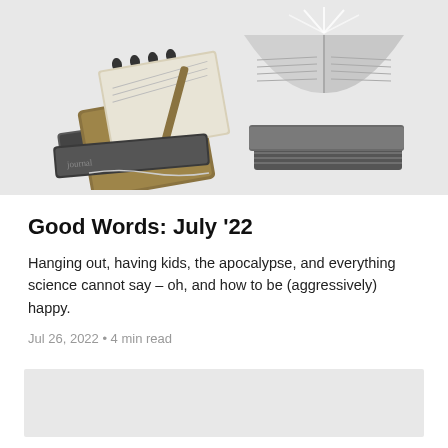[Figure (illustration): Illustration of stacked books and an open notebook/journal with a pen, rendered in gray and gold tones on a light gray background.]
Good Words: July '22
Hanging out, having kids, the apocalypse, and everything science cannot say – oh, and how to be (aggressively) happy.
Jul 26, 2022 • 4 min read
[Figure (illustration): Partial gray card or image at the bottom of the page, clipped.]